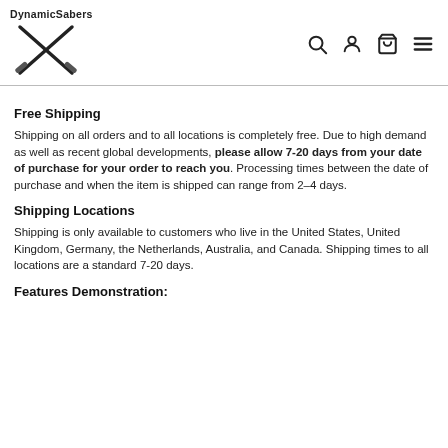DynamicSabers [logo with crossed sabers] [search icon] [user icon] [cart icon] [menu icon]
Free Shipping
Shipping on all orders and to all locations is completely free. Due to high demand as well as recent global developments, please allow 7-20 days from your date of purchase for your order to reach you. Processing times between the date of purchase and when the item is shipped can range from 2–4 days.
Shipping Locations
Shipping is only available to customers who live in the United States, United Kingdom, Germany, the Netherlands, Australia, and Canada. Shipping times to all locations are a standard 7-20 days.
Features Demonstration: